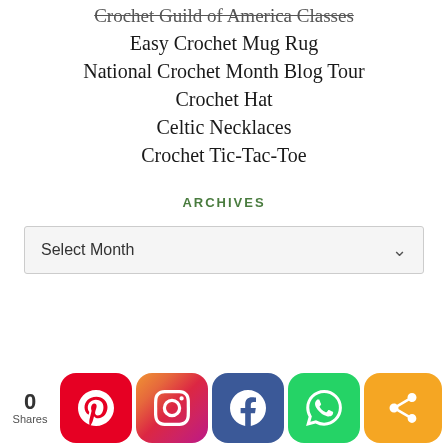Crochet Guild of America Classes
Easy Crochet Mug Rug
National Crochet Month Blog Tour
Crochet Hat
Celtic Necklaces
Crochet Tic-Tac-Toe
ARCHIVES
Select Month